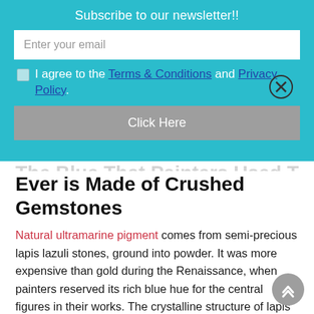Subscribe to our newsletter!!
Enter your email
I agree to the Terms & Conditions and Privacy Policy.
Click Here
Ever is Made of Crushed Gemstones
Natural ultramarine pigment comes from semi-precious lapis lazuli stones, ground into powder. It was more expensive than gold during the Renaissance, when painters reserved its rich blue hue for the central figures in their works. The crystalline structure of lapis lazuli lent a shimmering, ever-changing finish to any traditional painting.